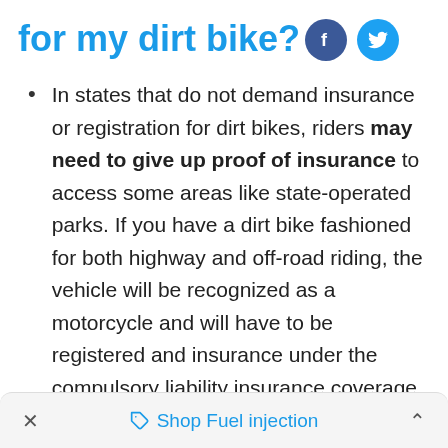for my dirt bike?
[Figure (other): Facebook and Twitter social sharing icons]
In states that do not demand insurance or registration for dirt bikes, riders may need to give up proof of insurance to access some areas like state-operated parks. If you have a dirt bike fashioned for both highway and off-road riding, the vehicle will be recognized as a motorcycle and will have to be registered and insurance under the compulsory liability insurance coverage.
× Shop Fuel injection ^